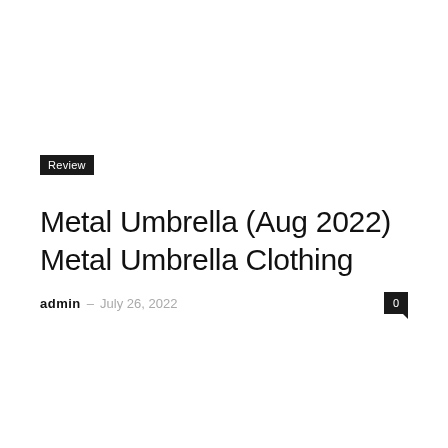Review
Metal Umbrella (Aug 2022) Metal Umbrella Clothing
admin – July 26, 2022